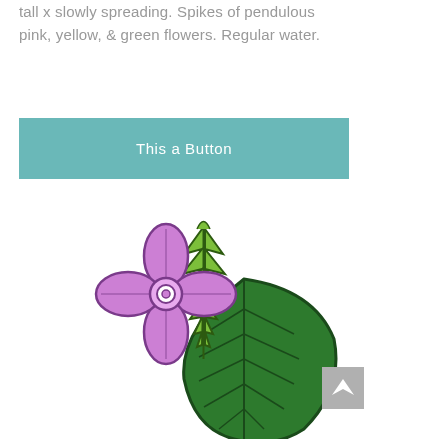tall x slowly spreading. Spikes of pendulous pink, yellow, & green flowers. Regular water.
[Figure (illustration): Teal/green button element with text 'This a Button']
[Figure (illustration): Botanical illustration showing a purple four-petal flower with a circular center, a green serrated fern-like leaf spike, and a large dark green leaf with parallel veining]